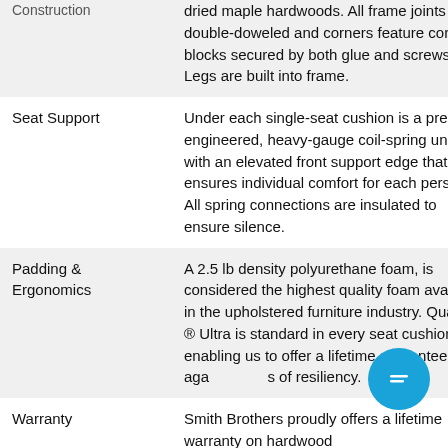|  |  |
| --- | --- |
| Construction | …kiln-dried maple hardwoods. All frame joints are double-doweled and corners feature corner blocks secured by both glue and screws. Legs are built into frame. |
| Seat Support | Under each single-seat cushion is a pre-engineered, heavy-gauge coil-spring unit with an elevated front support edge that ensures individual comfort for each person. All spring connections are insulated to ensure silence. |
| Padding & Ergonomics | A 2.5 lb density polyurethane foam, is considered the highest quality foam available in the upholstered furniture industry. Qualux ® Ultra is standard in every seat cushion enabling us to offer a lifetime guarantee against loss of resiliency. |
| Warranty | Smith Brothers proudly offers a lifetime warranty on hardwood… |